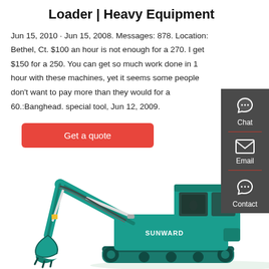Loader | Heavy Equipment
Jun 15, 2010 · Jun 15, 2008. Messages: 878. Location: Bethel, Ct. $100 an hour is not enough for a 270. I get $150 for a 250. You can get so much work done in 1 hour with these machines, yet it seems some people don't want to pay more than they would for a 60.:Banghead. special tool, Jun 12, 2009.
Get a quote
[Figure (photo): Sunward mini excavator / compact excavator in teal/turquoise color, shown from the side with boom arm extended downward]